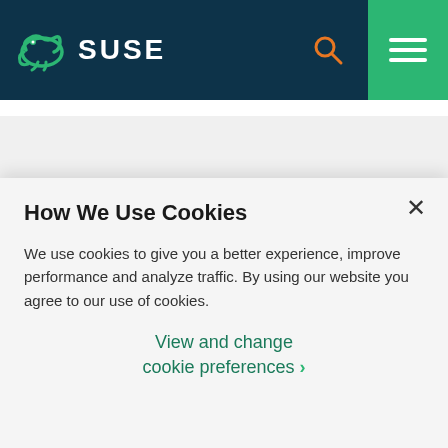[Figure (logo): SUSE logo with chameleon icon on dark teal header background, search icon and hamburger menu (green background) on right]
[Figure (other): Horizontal color stripe: orange, green, blue, teal]
Business-Critical Linux
Enterprise Container Management
Edge
How We Use Cookies
We use cookies to give you a better experience, improve performance and analyze traffic. By using our website you agree to our use of cookies.
View and change cookie preferences ›